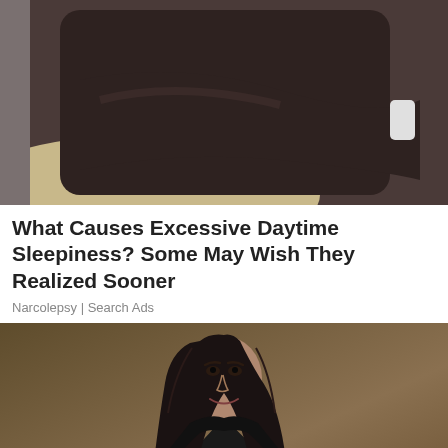[Figure (photo): Partial view of a person in dark clothing with arms crossed, seated on a light-colored surface. Only the torso and arms are visible.]
What Causes Excessive Daytime Sleepiness? Some May Wish They Realized Sooner
Narcolepsy | Search Ads
[Figure (photo): Portrait of a woman with long dark hair, smiling slightly, wearing a black jacket, against a brown background. A reCAPTCHA badge with Privacy - Terms text is visible in the bottom-right corner.]